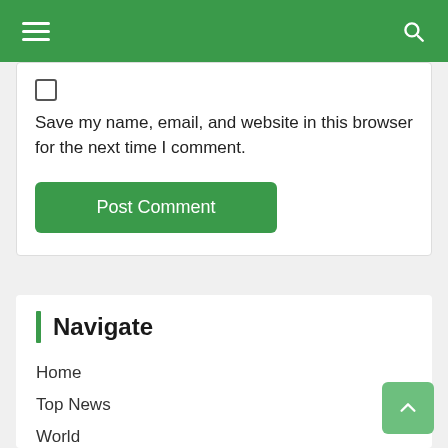Navigation bar with hamburger menu and search icon
Save my name, email, and website in this browser for the next time I comment.
Post Comment
Navigate
Home
Top News
World
Economy
Science and Health
Technology
Sport